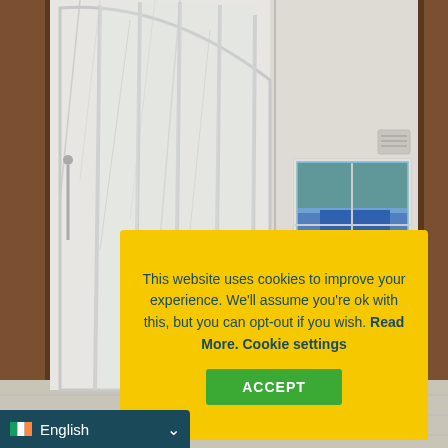[Figure (photo): Interior bathroom photo showing a curved glass shower enclosure with white marble-style tiles on the left, a white room with a window showing a blue wall and vehicle outside, ceiling light fixture, and a small vent or panel on the right wall. Wooden door frame visible on far left and right edges.]
This website uses cookies to improve your experience. We'll assume you're ok with this, but you can opt-out if you wish. Read More. Cookie settings
ACCEPT
English